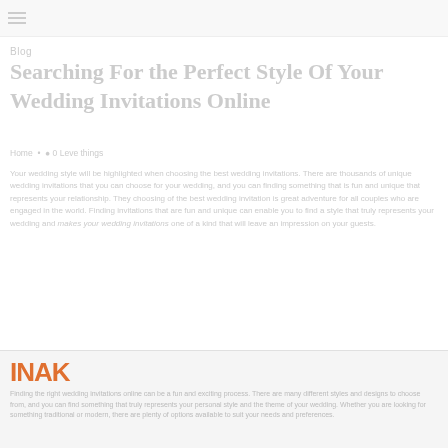Blog
Searching For the Perfect Style Of Your Wedding Invitations Online
Home • 0 Leve things
Your wedding style will be highlighted when choosing the best wedding invitations. There are thousands of unique wedding invitations that you can choose for your wedding, and you can finding something that is fun and unique that represents your relationship. They choosing of the best wedding invitation is great adventure for all couples who are engaged in the world.
[Figure (logo): Orange logo letters in bottom section]
Footer promotional text about wedding invitations online